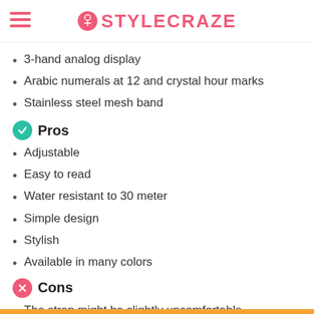STYLECRAZE
3-hand analog display
Arabic numerals at 12 and crystal hour marks
Stainless steel mesh band
Pros
Adjustable
Easy to read
Water resistant to 30 meter
Simple design
Stylish
Available in many colors
Cons
The strap might be slightly uncomfortable.